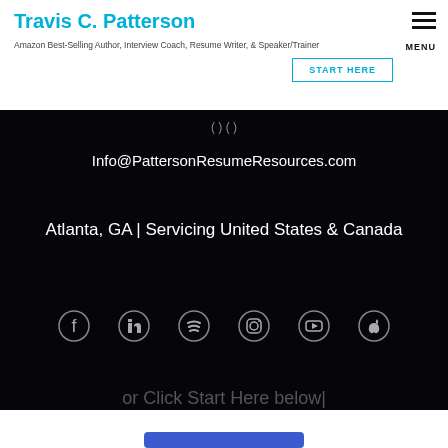Travis C. Patterson
Amazon Best-Selling Author, Interview Coach, Resume Writer, & Speaker/Trainer
START HERE
Info@PattersonResumeResources.com
Atlanta, GA | Servicing United States & Canada
[Figure (other): Social media icons: Facebook, LinkedIn, Spotify, Instagram, YouTube, Apple]
or Click Start Here below|